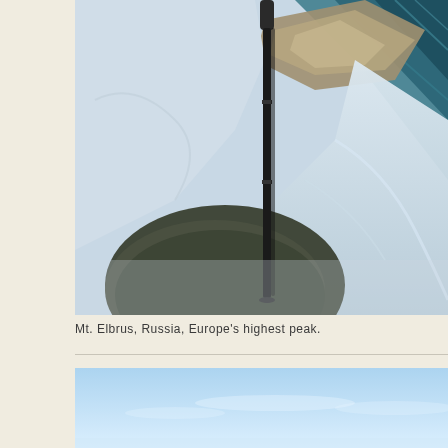[Figure (photo): Close-up view from a mountain summit showing a hiking/trekking pole planted in the snow, with snowy mountain slopes, rocky outcroppings, and a teal/blue glacial area visible in the background. The perspective is looking down and across the mountain terrain. Photo taken at Mt. Elbrus, Russia.]
Mt. Elbrus, Russia, Europe's highest peak.
[Figure (photo): Partial view of another mountain photo showing a pale blue sky with light clouds and a slight horizon line, likely another mountain scene.]